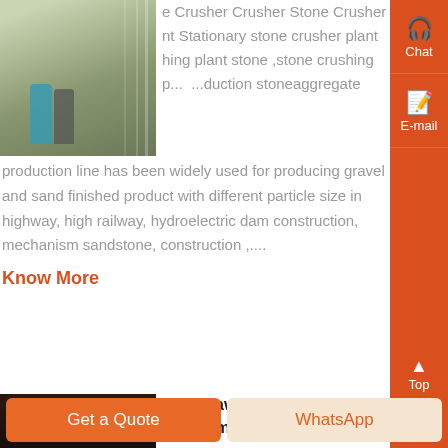[Figure (photo): Industrial stone crusher facility interior with two workers walking in the foreground]
e Crusher Crusher Stone Crusher nt Stationary stone crusher plant hing plant stone ,stone crushing p... ...duction stoneaggregate production line has been widely used for producing gravel and sand finished product with different particle size in highway, high railway, hydroelectric dam construction, mechanism sandstone, construction ,...
Know More
[Figure (photo): Dark interior view of a jaw crusher machine]
View Jaw Crusher stone recruitment
0183 32 exploded view of b cone
Get a Quote
WhatsApp